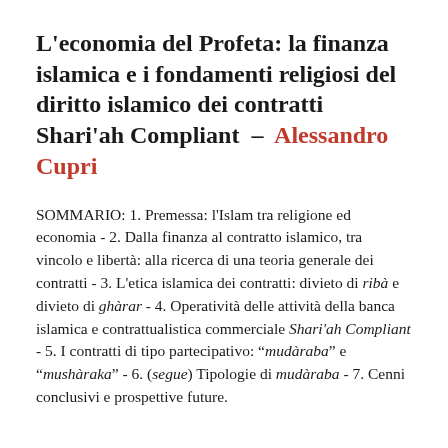L'economia del Profeta: la finanza islamica e i fondamenti religiosi del diritto islamico dei contratti Shari'ah Compliant – Alessandro Cupri
SOMMARIO: 1. Premessa: l'Islam tra religione ed economia - 2. Dalla finanza al contratto islamico, tra vincolo e libertà: alla ricerca di una teoria generale dei contratti - 3. L'etica islamica dei contratti: divieto di ribà e divieto di ghàrar - 4. Operatività delle attività della banca islamica e contrattualistica commerciale Shari'ah Compliant - 5. I contratti di tipo partecipativo: "mudàraba" e "mushàraka" - 6. (segue) Tipologie di mudàraba - 7. Cenni conclusivi e prospettive future.